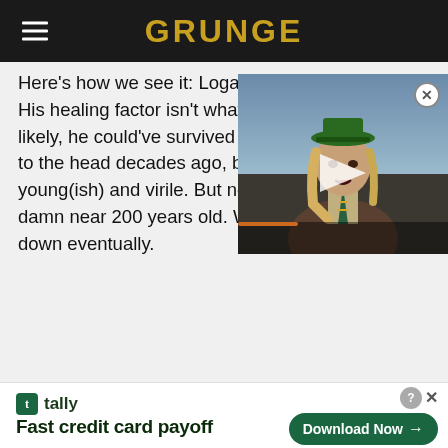GRUNGE
[Figure (photo): Video thumbnail showing a person wearing a green hat with long hair, a brown jacket and striped tie, with a white play button overlay in the center]
Here's how we see it: Logan is old. He's dying. His healing factor isn't what it used to be. Very likely, he could've survived an adamantium bullet to the head decades ago, because he was young(ish) and virile. But not anymore – dude's damn near 200 years old. We all gotta break down eventually.
[Figure (screenshot): Advertisement for Tally app: 'Fast credit card payoff' with a Download Now button]